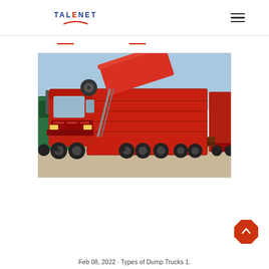TALENET (logo with hamburger menu)
[Figure (photo): A large red dump truck (8x4 configuration) with its dump bed raised, photographed in a truck yard. Additional red and green trucks visible in background. The truck appears to be a Sinotruk HOWO brand heavy-duty dump truck.]
Feb 08, 2022 · Types of Dump Trucks 1.